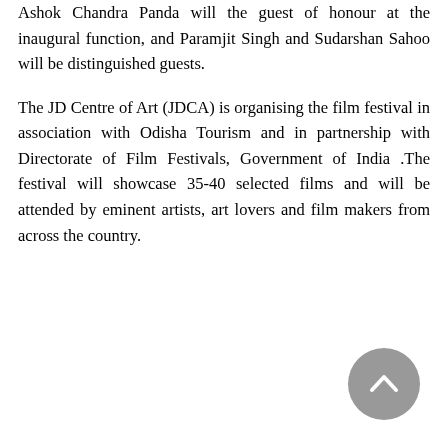Ashok Chandra Panda will the guest of honour at the inaugural function, and Paramjit Singh and Sudarshan Sahoo will be distinguished guests.
The JD Centre of Art (JDCA) is organising the film festival in association with Odisha Tourism and in partnership with Directorate of Film Festivals, Government of India .The festival will showcase 35-40 selected films and will be attended by eminent artists, art lovers and film makers from across the country.
[Figure (other): A grey circular scroll-to-top button with an upward-pointing chevron arrow, positioned at the bottom-right of the page.]